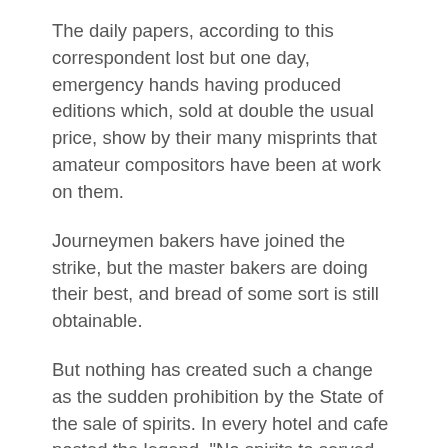The daily papers, according to this correspondent lost but one day, emergency hands having produced editions which, sold at double the usual price, show by their many misprints that amateur compositors have been at work on them.
Journeymen bakers have joined the strike, but the master bakers are doing their best, and bread of some sort is still obtainable.
But nothing has created such a change as the sudden prohibition by the State of the sale of spirits. In every hotel and cafe posted the legend, "No spirits to served until further notice;" while another order has been issued to the effect that no Pilsener, vermouth, or wine is to be served except with at least sixpennyworth of cooked food.
All the wine merchants' shops are closed, and Stockholm is undergoing the new sensation of enforced temperance. What the ultimate effect of